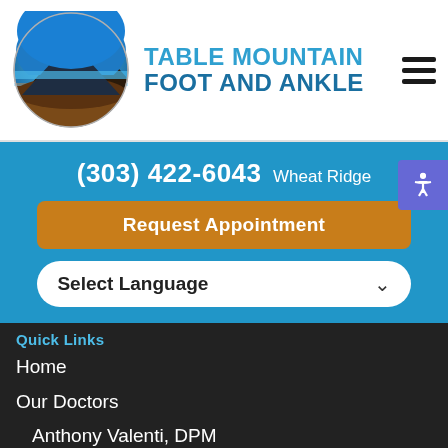[Figure (logo): Table Mountain Foot and Ankle logo: oval shape with mountain landscape (blue sky, dark mountain silhouette, brown ground)]
TABLE MOUNTAIN FOOT AND ANKLE
(303) 422-6043 Wheat Ridge
Request Appointment
Select Language
Quick Links
Home
Our Doctors
Anthony Valenti, DPM
Gregory Still, DPM
Raquel Litherland, DPM
Office
Services
Downloads
New Patients